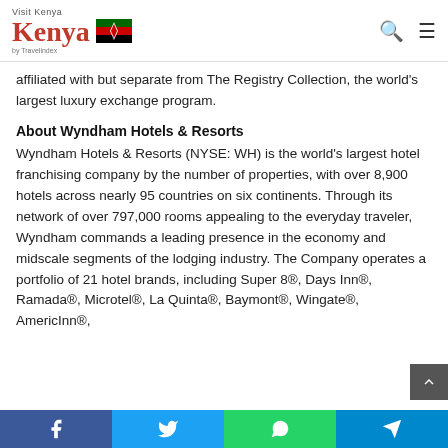Visit Kenya by Travelindex
affiliated with but separate from The Registry Collection, the world's largest luxury exchange program.
About Wyndham Hotels & Resorts
Wyndham Hotels & Resorts (NYSE: WH) is the world's largest hotel franchising company by the number of properties, with over 8,900 hotels across nearly 95 countries on six continents. Through its network of over 797,000 rooms appealing to the everyday traveler, Wyndham commands a leading presence in the economy and midscale segments of the lodging industry. The Company operates a portfolio of 21 hotel brands, including Super 8®, Days Inn®, Ramada®, Microtel®, La Quinta®, Baymont®, Wingate®, AmericInn®,
Facebook | Twitter | WhatsApp | Telegram